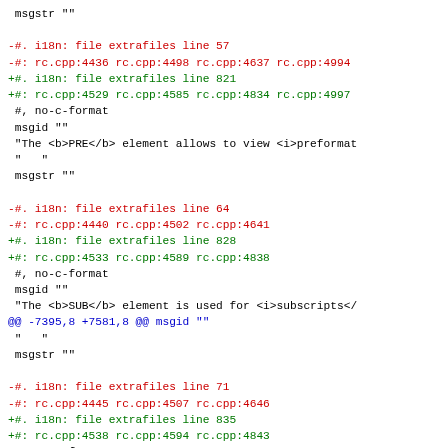msgstr ""

-#. i18n: file extrafiles line 57
-#: rc.cpp:4436 rc.cpp:4498 rc.cpp:4637 rc.cpp:4994
+#. i18n: file extrafiles line 821
+#: rc.cpp:4529 rc.cpp:4585 rc.cpp:4834 rc.cpp:4997
 #, no-c-format
 msgid ""
 "The <b>PRE</b> element allows to view <i>preformat
 "   "
 msgstr ""

-#. i18n: file extrafiles line 64
-#: rc.cpp:4440 rc.cpp:4502 rc.cpp:4641
+#. i18n: file extrafiles line 828
+#: rc.cpp:4533 rc.cpp:4589 rc.cpp:4838
 #, no-c-format
 msgid ""
 "The <b>SUB</b> element is used for <i>subscripts</
@@ -7395,8 +7581,8 @@ msgid ""
 "   "
 msgstr ""

-#. i18n: file extrafiles line 71
-#: rc.cpp:4445 rc.cpp:4507 rc.cpp:4646
+#. i18n: file extrafiles line 835
+#: rc.cpp:4538 rc.cpp:4594 rc.cpp:4843
 #, no-c-format
 msgid ""
 "The <b>SUP</b> element is used for <i>superscripts